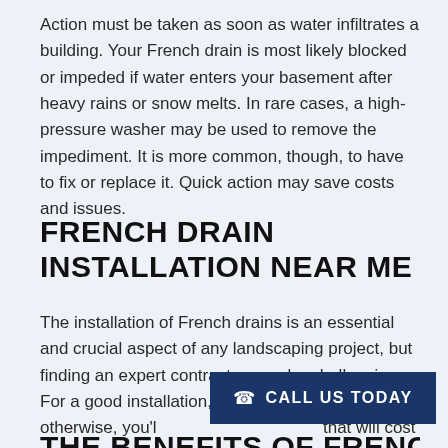Action must be taken as soon as water infiltrates a building. Your French drain is most likely blocked or impeded if water enters your basement after heavy rains or snow melts. In rare cases, a high-pressure washer may be used to remove the impediment. It is more common, though, to have to fix or replace it. Quick action may save costs and issues.
FRENCH DRAIN INSTALLATION NEAR ME
The installation of French drains is an essential and crucial aspect of any landscaping project, but finding an expert contractor may be challenging. For a good installation, yo... skills; otherwise, you'l... that will cost you even more money in the long run.
THE BENEFITS OF FRENCH...